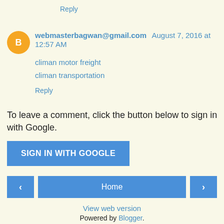Reply
webmasterbagwan@gmail.com August 7, 2016 at 12:57 AM
climan motor freight
climan transportation
Reply
To leave a comment, click the button below to sign in with Google.
SIGN IN WITH GOOGLE
Home
View web version
Powered by Blogger.